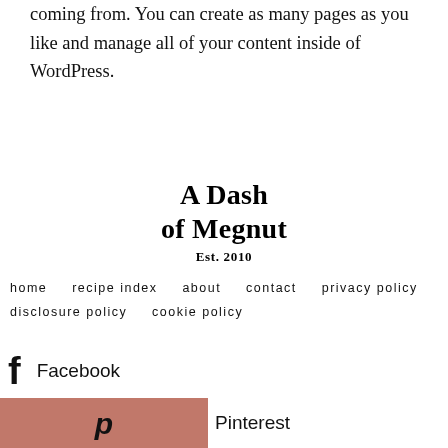coming from. You can create as many pages as you like and manage all of your content inside of WordPress.
[Figure (logo): A Dash of Megnut Est. 2010 logo in bold serif font]
home   recipe index   about   contact   privacy policy   disclosure policy   cookie policy
Facebook
Pinterest